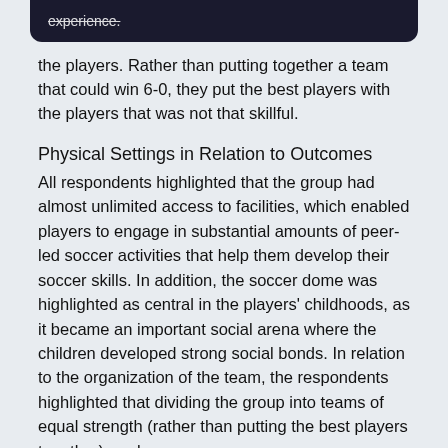experience.
the players. Rather than putting together a team that could win 6-0, they put the best players with the players that was not that skillful.
Physical Settings in Relation to Outcomes
All respondents highlighted that the group had almost unlimited access to facilities, which enabled players to engage in substantial amounts of peer-led soccer activities that help them develop their soccer skills. In addition, the soccer dome was highlighted as central in the players' childhoods, as it became an important social arena where the children developed strong social bonds. In relation to the organization of the team, the respondents highlighted that dividing the group into teams of equal strength (rather than putting the best players together), and